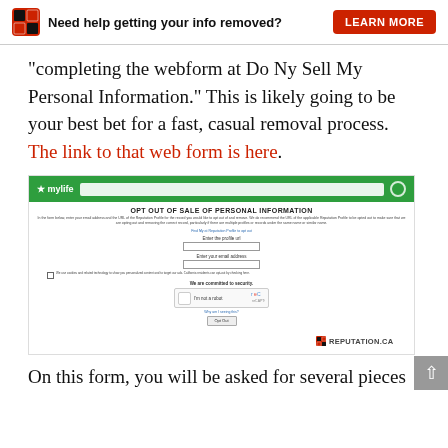Need help getting your info removed? LEARN MORE
“completing the webform at Do Ny Sell My Personal Information.” This is likely going to be your best bet for a fast, casual removal process. The link to that web form is here.
[Figure (screenshot): Screenshot of MyLife opt-out form page. Shows MyLife green navigation bar at top, then a form titled 'OPT OUT OF SALE OF PERSONAL INFORMATION' with fields for profile URL and email address, a reCAPTCHA widget, and an Opt Out button. Reputation.ca logo in bottom right.]
On this form, you will be asked for several pieces